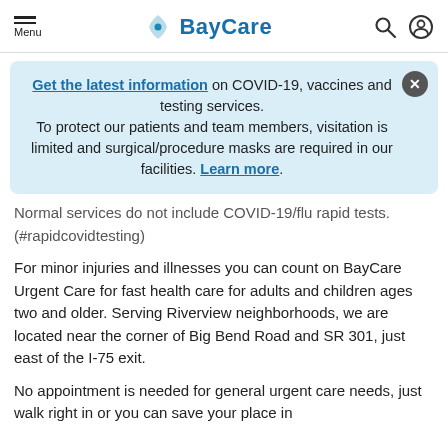Menu | BayCare
Get the latest information on COVID-19, vaccines and testing services. To protect our patients and team members, visitation is limited and surgical/procedure masks are required in our facilities. Learn more.
Normal services do not include COVID-19/flu rapid tests. (#rapidcovidtesting)
For minor injuries and illnesses you can count on BayCare Urgent Care for fast health care for adults and children ages two and older. Serving Riverview neighborhoods, we are located near the corner of Big Bend Road and SR 301, just east of the I-75 exit.
No appointment is needed for general urgent care needs, just walk right in or you can save your place in line...